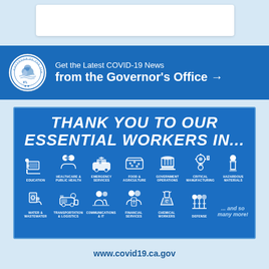[Figure (infographic): California Governor's Office seal circular logo in white]
Get the Latest COVID-19 News from the Governor's Office →
[Figure (infographic): Blue banner: THANK YOU TO OUR ESSENTIAL WORKERS IN... with icons for Education, Healthcare & Public Health, Emergency Services, Food & Agriculture, Government Operations, Critical Manufacturing, Hazardous Materials, Water & Wastewater, Transportation & Logistics, Communications & IT, Financial Services, Chemical Workers, Defense, and so many more!]
www.covid19.ca.gov